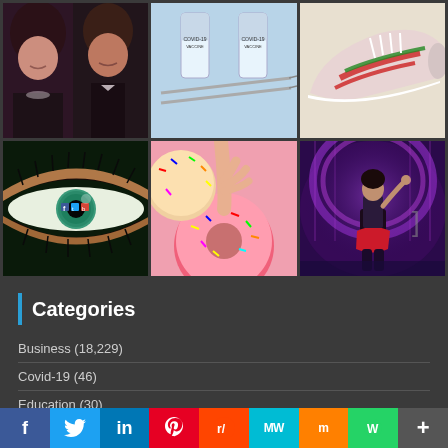[Figure (photo): Grid of 6 photos: couple in formal wear, COVID-19 vaccine vials with syringes, colorful sneaker, close-up of an eye with social media logos reflected, hand reaching for sprinkle donuts, performer on stage with purple lighting]
Categories
Business (18,229)
Covid-19 (46)
Education (30)
f  Twitter  in  Pinterest  Reddit  MW  Mix  WhatsApp  +